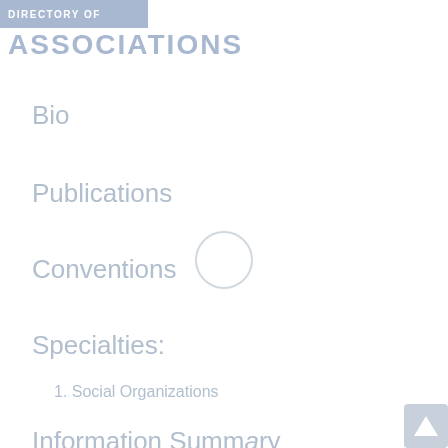DIRECTORY OF
ASSOCIATIONS
Bio
Publications
Conventions
Specialties:
1. Social Organizations
Information Summary